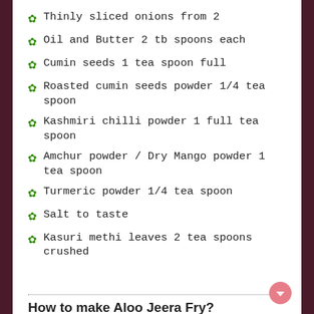Thinly sliced onions from 2
Oil and Butter 2 tb spoons each
Cumin seeds 1 tea spoon full
Roasted cumin seeds powder 1/4 tea spoon
Kashmiri chilli powder 1 full tea spoon
Amchur powder / Dry Mango powder 1 tea spoon
Turmeric powder 1/4 tea spoon
Salt to taste
Kasuri methi leaves 2 tea spoons crushed
How to make Aloo Jeera Fry?
Peel the boiled potatoes and cut them to small chunks